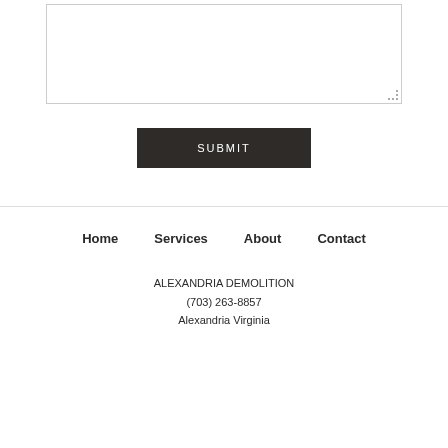[Figure (screenshot): A textarea input field with a resize handle in the bottom-right corner, styled with a light border]
SUBMIT
Home   Services   About   Contact
ALEXANDRIA DEMOLITION
(703) 263-8857
Alexandria Virginia